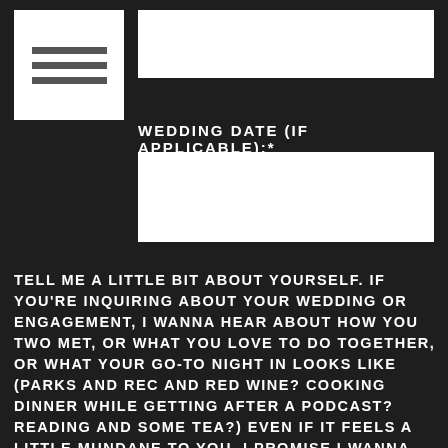[Figure (other): Icon box with three horizontal lines representing a form/document icon]
WEDDING DATE (IF APPLICABLE):*
TELL ME A LITTLE BIT ABOUT YOURSELF. IF YOU'RE INQUIRING ABOUT YOUR WEDDING OR ENGAGEMENT, I WANNA HEAR ABOUT HOW YOU TWO MET, OR WHAT YOU LOVE TO DO TOGETHER, OR WHAT YOUR GO-TO NIGHT IN LOOKS LIKE (PARKS AND REC AND RED WINE? COOKING DINNER WHILE GETTING AFTER A PODCAST? READING AND SOME TEA?) EVEN IF IT FEELS A LITTLE MUNDANE TO YOU, I PROMISE I WANNA HEAR ABOUT